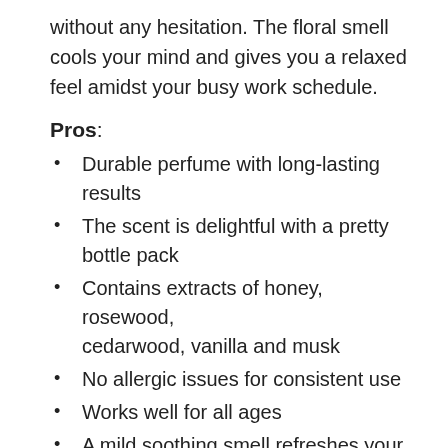without any hesitation. The floral smell cools your mind and gives you a relaxed feel amidst your busy work schedule.
Pros:
Durable perfume with long-lasting results
The scent is delightful with a pretty bottle pack
Contains extracts of honey, rosewood, cedarwood, vanilla and musk
No allergic issues for consistent use
Works well for all ages
A mild soothing smell refreshes your mind
Cons: